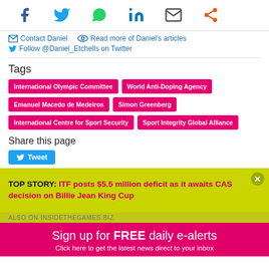[Figure (infographic): Social sharing icons bar: Facebook (blue), Twitter (blue), WhatsApp (green), LinkedIn (blue), Email (grey envelope), Share (orange)]
✉ Contact Daniel  👁 Read more of Daniel's articles
🐦 Follow @Daniel_Etchells on Twitter
Tags
International Olympic Committee
World Anti-Doping Agency
Emanuel Macedo de Medeiros
Simon Greenberg
International Centre for Sport Security
Sport Integrity Global Alliance
Share this page
[Figure (other): Tweet button]
TOP STORY: ITF posts $5.5 million deficit as it awaits CAS decision on Billie Jean King Cup
ALSO ON INSIDETHEGAMES.BIZ
Sign up for FREE daily e-alerts
Click here to get the latest news direct to your inbox